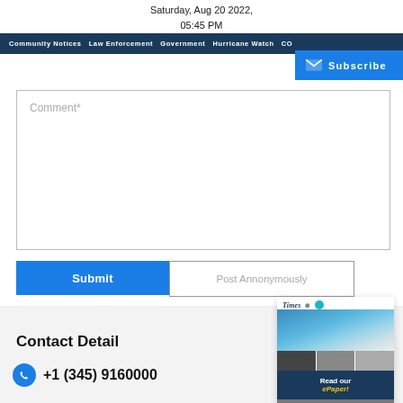Saturday, Aug 20 2022, 05:45 PM
Community Notices  Law Enforcement  Government  Hurricane Watch  CO...
Comment*
Subscribe
Submit
Post Annonymously
[Figure (screenshot): ePaper thumbnail card showing Times publication with coastal photo and 'Read our ePaper!' button]
Contact Detail
+1 (345) 9160000